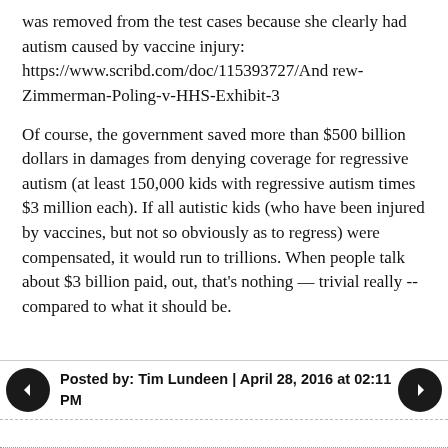was removed from the test cases because she clearly had autism caused by vaccine injury: https://www.scribd.com/doc/115393727/Andrew-Zimmerman-Poling-v-HHS-Exhibit-3
Of course, the government saved more than $500 billion dollars in damages from denying coverage for regressive autism (at least 150,000 kids with regressive autism times $3 million each). If all autistic kids (who have been injured by vaccines, but not so obviously as to regress) were compensated, it would run to trillions. When people talk about $3 billion paid, out, that's nothing — trivial really -- compared to what it should be.
Posted by: Tim Lundeen | April 28, 2016 at 02:11 PM